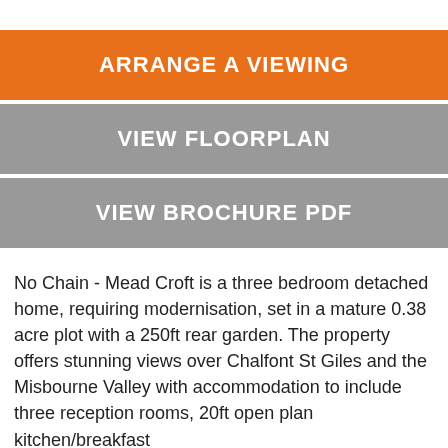ARRANGE A VIEWING
VIEW FLOORPLAN
VIEW BROCHURE PDF
No Chain - Mead Croft is a three bedroom detached home, requiring modernisation, set in a mature 0.38 acre plot with a 250ft rear garden. The property offers stunning views over Chalfont St Giles and the Misbourne Valley with accommodation to include three reception rooms, 20ft open plan kitchen/breakfast